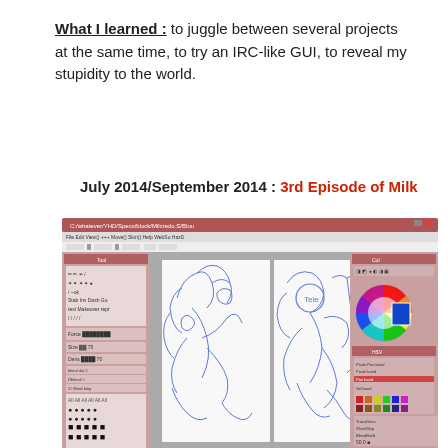What I learned : to juggle between several projects at the same time, to try an IRC-like GUI, to reveal my stupidity to the world.
July 2014/September 2014 : 3rd Episode of Milk
[Figure (screenshot): Screenshot of a digital art software (PaintTool SAI or similar) showing blue line sketch artwork with anime-style characters, with tool panels on the left and a color picker panel on the right.]